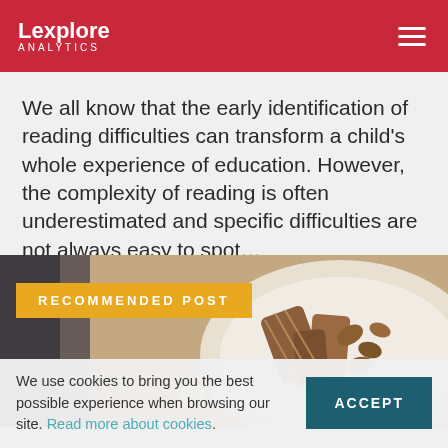Lexplore ANALYTICS
We all know that the early identification of reading difficulties can transform a child’s whole experience of education. However, the complexity of reading is often underestimated and specific difficulties are not always easy to spot…
[Figure (photo): Food photo showing a grilled or glazed dish on a white plate, partially visible. Over the image is a yellow banner reading RECOMMENDED POST and carousel dots at the bottom.]
We use cookies to bring you the best possible experience when browsing our site. Read more about cookies.